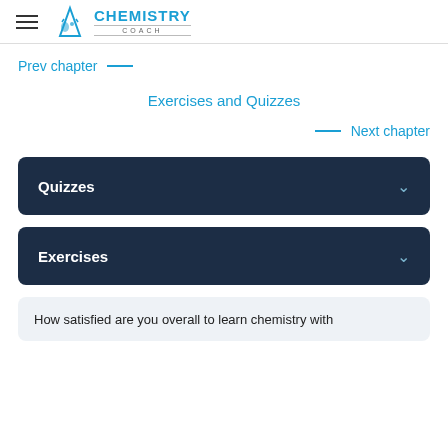Chemistry Coach
Prev chapter —
Exercises and Quizzes
— Next chapter
Quizzes
Exercises
How satisfied are you overall to learn chemistry with